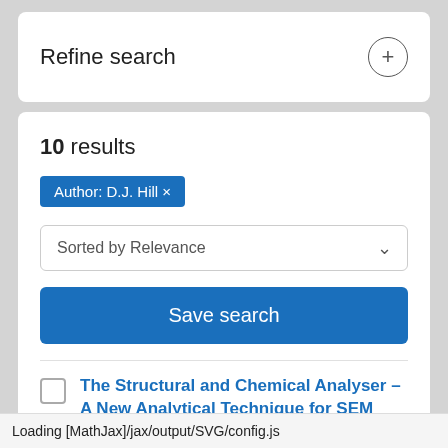Refine search
10 results
Author: D.J. Hill ×
Sorted by Relevance
Save search
The Structural and Chemical Analyser – A New Analytical Technique for SEM
R. Goodacre,
Loading [MathJax]/jax/output/SVG/config.js